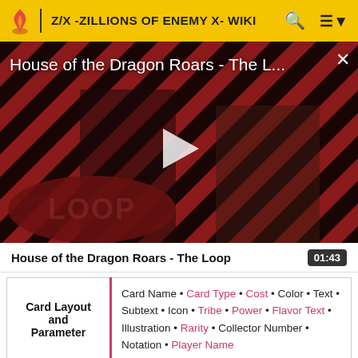Z/X -ZILLIONS OF ENEMY X- WIKI
[Figure (screenshot): Video thumbnail for 'House of the Dragon Roars - The L...' showing two characters against a diagonal striped red and black background, with THE LOOP logo overlay and a play button]
House of the Dragon Roars - The Loop
| Card Layout and Parameter | Fields |
| --- | --- |
| Card Layout and Parameter | Card Name • Card Type • Cost • Color • Text • Subtext • Icon • Tribe • Power • Flavor Text • Illustration • Rarity • Collector Number • Notation • Player Name |